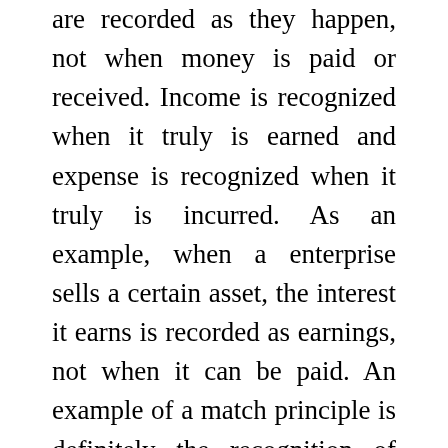are recorded as they happen, not when money is paid or received. Income is recognized when it truly is earned and expense is recognized when it truly is incurred. As an example, when a enterprise sells a certain asset, the interest it earns is recorded as earnings, not when it can be paid. An example of a match principle is definitely the recognition of interest in between the date the security is paid along with the date it can be sold.
The accounting and finance definition of profit refers to the process of recording and analyzing financial information. The major function of accounting is usually to record business